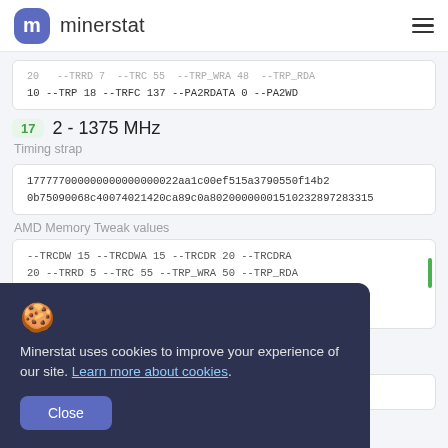minerstat
10 --TRP 18 --TRFC 137 --PA2RDATA 0 --PA2WD
17  2 - 1375 MHz
Timing strap
177777000000000000000022aa1c00ef515a3790550f14b20b75090068c40074021420ca89c0a8020000000151023
2897283315
AMD Memory Tweak values
--TRCDW 15 --TRCDWA 15 --TRCDR 20 --TRCDRA 20 --TRRD 5 --TRC 55 --TRP_WRA 50 --TRP_RDA 11 --TRP 20 --TRFC 151 --PA2RDATA 0 --PA2WD
Minerstat uses cookies to improve your experience of our site. Learn more about cookies.
Close
2 - 1425 MHz
Timing strap
18777000000000000000022aa1c0010d65a3990550f1434